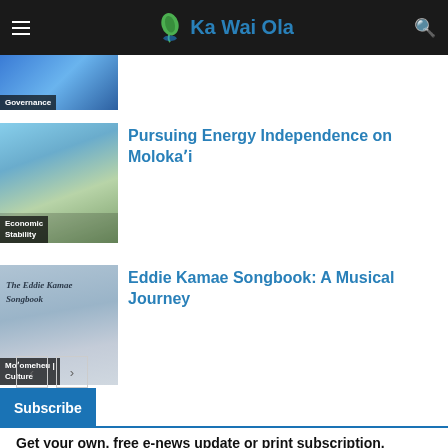Ka Wai Ola
[Figure (photo): Partial governance article thumbnail with blue flag imagery and 'Governance' category label]
Pursuing Energy Independence on Molokaʻi
[Figure (photo): Energy article thumbnail showing people outdoors with sky, 'Economic Stability' category label]
Eddie Kamae Songbook: A Musical Journey
[Figure (photo): Thumbnail showing The Eddie Kamae Songbook cover text on blue-grey background, 'Moʻomeheu | Culture' category label]
Subscribe
Get your own, free e-news update or print subscription.